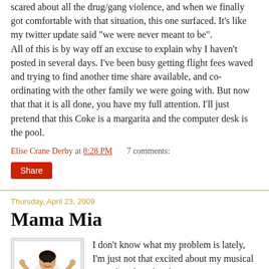scared about all the drug/gang violence, and when we finally got comfortable with that situation, this one surfaced. It's like my twitter update said "we were never meant to be". All of this is by way off an excuse to explain why I haven't posted in several days. I've been busy getting flight fees waved and trying to find another time share available, and co-ordinating with the other family we were going with. But now that that it is all done, you have my full attention. I'll just pretend that this Coke is a margarita and the computer desk is the pool.
Elise Crane Derby at 8:28 PM    7 comments:
Share
Thursday, April 23, 2009
Mama Mia
[Figure (illustration): A woman in a white dress with arms raised, theatrical pose, appears to be from Mamma Mia movie/show artwork]
I don't know what my problem is lately, I'm just not that excited about my musical comedies then the obvious Mamma Mia, The B...